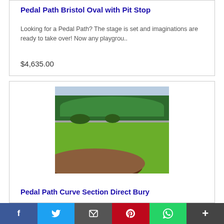Pedal Path Bristol Oval with Pit Stop
Looking for a Pedal Path? The stage is set and imaginations are ready to take over! Now any playgrou..
$4,635.00
[Figure (photo): Outdoor photo of a golf course showing green grass, trees in the background, a sand bunker in the foreground, and shrubs in the middle ground.]
Pedal Path Curve Section Direct Bury
f  Twitter  Email  Pinterest  WhatsApp  +